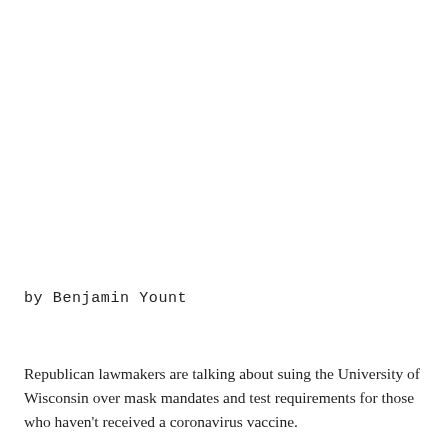by Benjamin Yount
Republican lawmakers are talking about suing the University of Wisconsin over mask mandates and test requirements for those who haven't received a coronavirus vaccine.